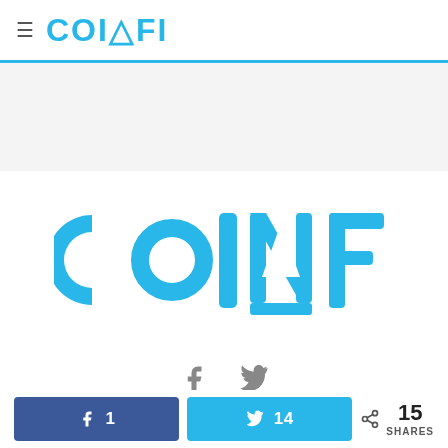≡ COINFI
[Figure (logo): CoinFi logo in large cyan/blue text on white background]
[Figure (infographic): Facebook and Twitter share icons in gray]
[Figure (infographic): Share bar with Facebook button showing 1 share, Twitter button showing 14 shares, and total 15 SHARES count]